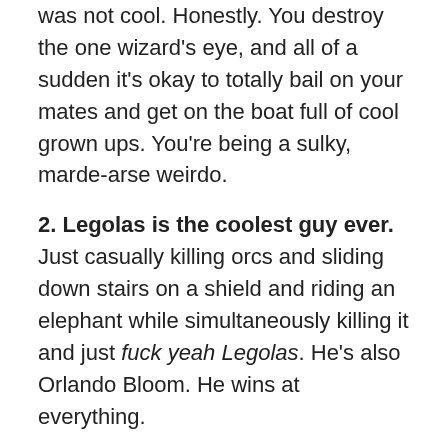was not cool. Honestly. You destroy the one wizard's eye, and all of a sudden it's okay to totally bail on your mates and get on the boat full of cool grown ups. You're being a sulky, marde-arse weirdo.
2. Legolas is the coolest guy ever. Just casually killing orcs and sliding down stairs on a shield and riding an elephant while simultaneously killing it and just fuck yeah Legolas. He's also Orlando Bloom. He wins at everything.
3. Kings are douches. If I was a king, I would not ignore Gandalf. I also wouldn't try to drown people I didn't like in a landslide of skulls. Nor would I burn my own son alive. Nor would I be a marde arse about my daughter not wanting to live forever on my weird-ass eternity boat.